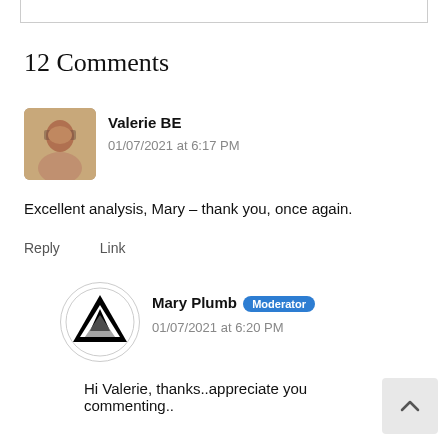12 Comments
[Figure (photo): Profile photo of Valerie BE, a woman with shoulder-length gray-brown hair and glasses]
Valerie BE
01/07/2021 at 6:17 PM
Excellent analysis, Mary – thank you, once again.
Reply   Link
[Figure (logo): Black and white geometric logo for Mary Plumb, triangular shape]
Mary Plumb  Moderator
01/07/2021 at 6:20 PM
Hi Valerie, thanks..appreciate you commenting..